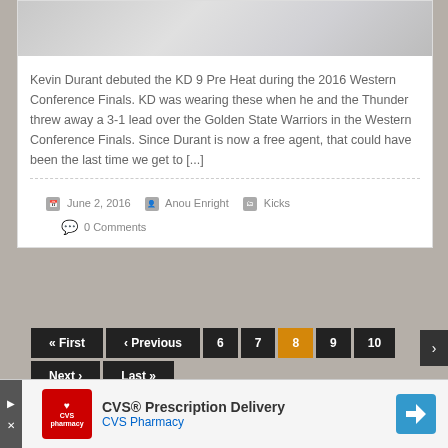[Figure (photo): Nike KD 9 Pre Heat shoe in grey/white colorway shown from the side, close-up view]
Kevin Durant debuted the KD 9 Pre Heat during the 2016 Western Conference Finals. KD was wearing these when he and the Thunder threw away a 3-1 lead over the Golden State Warriors in the Western Conference Finals. Since Durant is now a free agent, that could have been the last time we get to [...]
June 2, 2016  Anou Enright  Kicks  0 Comments
« First  ‹ Previous  6  7  8  9  10  Next ›  Last »
[Figure (screenshot): CVS Prescription Delivery advertisement banner with CVS Pharmacy logo and navigation arrow]